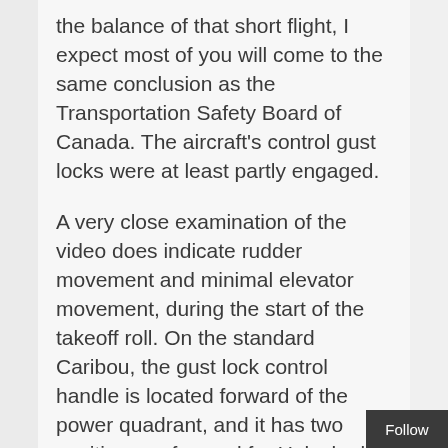the balance of that short flight, I expect most of you will come to the same conclusion as the Transportation Safety Board of Canada. The aircraft's control gust locks were at least partly engaged.
A very close examination of the video does indicate rudder movement and minimal elevator movement, during the start of the takeoff roll. On the standard Caribou, the gust lock control handle is located forward of the power quadrant, and it has two positions — forward for Unlocked, and aft for Locked